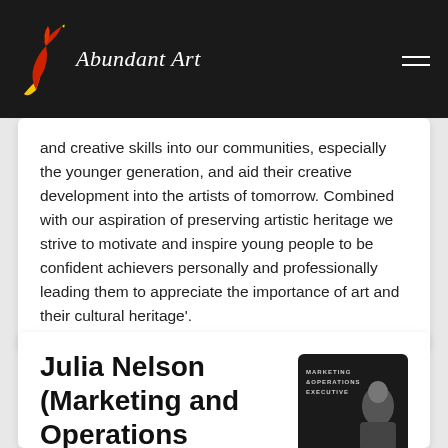Abundant Art
and creative skills into our communities, especially the younger generation, and aid their creative development into the artists of tomorrow. Combined with our aspiration of preserving artistic heritage we strive to motivate and inspire young people to be confident achievers personally and professionally leading them to appreciate the importance of art and their cultural heritage'.
Julia Nelson (Marketing and Operations
[Figure (photo): Marketing and Operations Executive profile card, dark background with text]